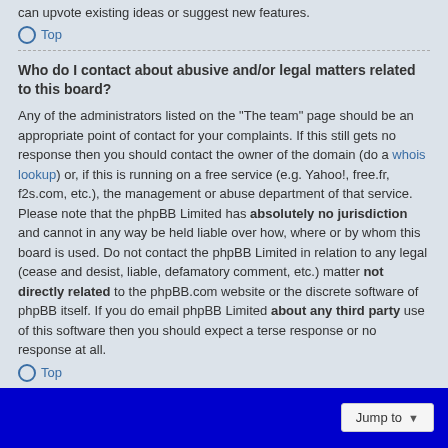can upvote existing ideas or suggest new features.
Top
Who do I contact about abusive and/or legal matters related to this board?
Any of the administrators listed on the “The team” page should be an appropriate point of contact for your complaints. If this still gets no response then you should contact the owner of the domain (do a whois lookup) or, if this is running on a free service (e.g. Yahoo!, free.fr, f2s.com, etc.), the management or abuse department of that service. Please note that the phpBB Limited has absolutely no jurisdiction and cannot in any way be held liable over how, where or by whom this board is used. Do not contact the phpBB Limited in relation to any legal (cease and desist, liable, defamatory comment, etc.) matter not directly related to the phpBB.com website or the discrete software of phpBB itself. If you do email phpBB Limited about any third party use of this software then you should expect a terse response or no response at all.
Top
How do I contact a board administrator?
All users of the board can use the “Contact us” form, if the option was enabled by the board administrator.
Members of the board can also use the “The team” link.
Top